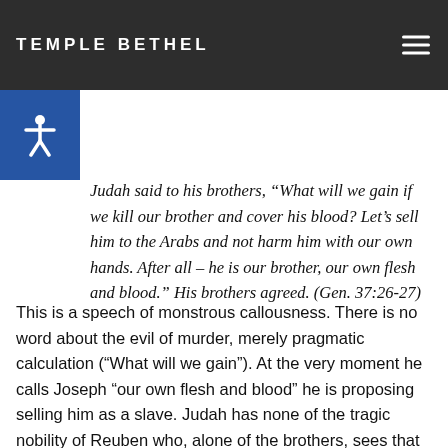TEMPLE BETHEL
The clue lies many chapters back, at the beginning of the Joseph story. It is there we find that it was Judah who proposed selling Joseph into slavery:
Judah said to his brothers, “What will we gain if we kill our brother and cover his blood? Let’s sell him to the Arabs and not harm him with our own hands. After all – he is our brother, our own flesh and blood.” His brothers agreed. (Gen. 37:26-27)
This is a speech of monstrous callousness. There is no word about the evil of murder, merely pragmatic calculation (“What will we gain”). At the very moment he calls Joseph “our own flesh and blood” he is proposing selling him as a slave. Judah has none of the tragic nobility of Reuben who, alone of the brothers, sees that what they are doing is wrong, and makes an attempt to save him (it fails). At this point, Judah is the last person from whom we expect great